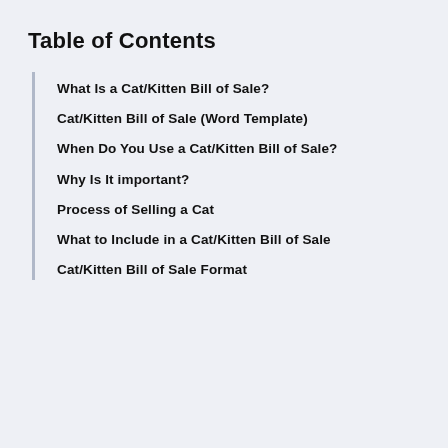Table of Contents
What Is a Cat/Kitten Bill of Sale?
Cat/Kitten Bill of Sale (Word Template)
When Do You Use a Cat/Kitten Bill of Sale?
Why Is It important?
Process of Selling a Cat
What to Include in a Cat/Kitten Bill of Sale
Cat/Kitten Bill of Sale Format